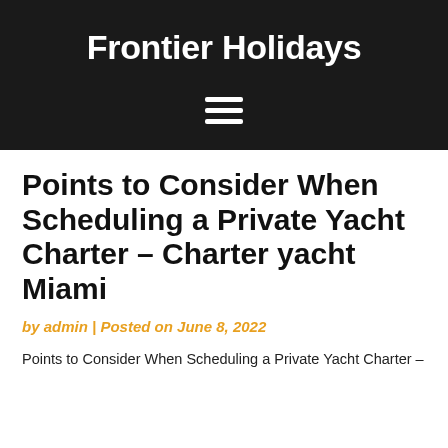Frontier Holidays
Points to Consider When Scheduling a Private Yacht Charter – Charter yacht Miami
by admin | Posted on June 8, 2022
Points to Consider When Scheduling a Private Yacht Charter –